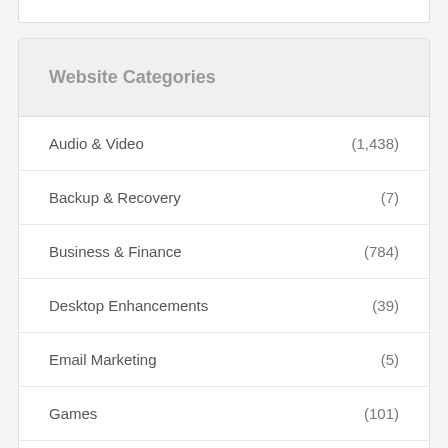Website Categories
Audio & Video (1,438)
Backup & Recovery (7)
Business & Finance (784)
Desktop Enhancements (39)
Email Marketing (5)
Games (101)
Home & Education (144)
Internet (542)
Mobile (168)